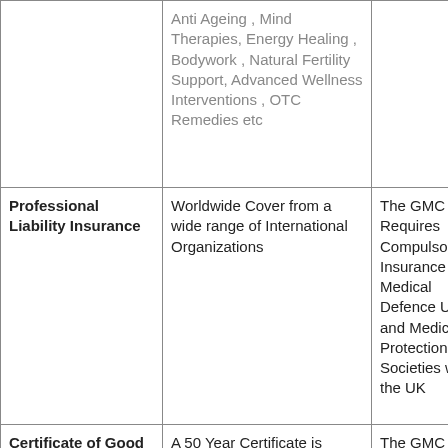|  | Anti Ageing , Mind Therapies, Energy Healing , Bodywork , Natural Fertility Support, Advanced Wellness Interventions , OTC Remedies etc |  |
| Professional Liability Insurance | Worldwide Cover from a wide range of International Organizations | The GMC Requires Compulsory Insurance from Medical Defence Union and Medical Protection Societies within the UK |
| Certificate of Good Standing | A 50 Year Certificate is Automatically Issued to each Licentiate upon Formal MLC Certification | The GMC has Full Control of it's Registrant's Certificate of Good Standing ; and usually refuses to |